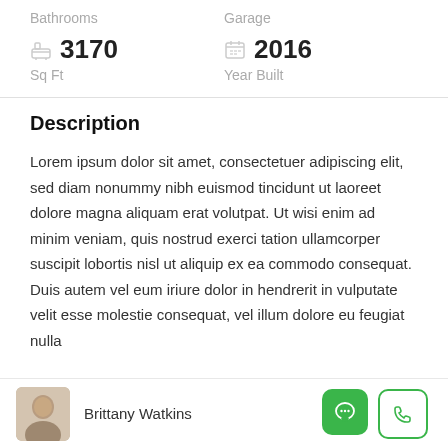Bathrooms
Garage
3170 Sq Ft
2016 Year Built
Description
Lorem ipsum dolor sit amet, consectetuer adipiscing elit, sed diam nonummy nibh euismod tincidunt ut laoreet dolore magna aliquam erat volutpat. Ut wisi enim ad minim veniam, quis nostrud exerci tation ullamcorper suscipit lobortis nisl ut aliquip ex ea commodo consequat. Duis autem vel eum iriure dolor in hendrerit in vulputate velit esse molestie consequat, vel illum dolore eu feugiat nulla
Brittany Watkins